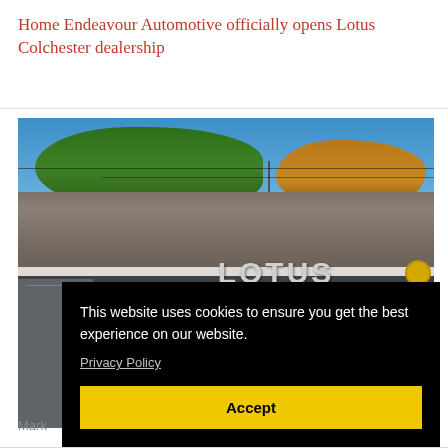Home Endeavour Automotive officially opens Lotus Colchester dealership
[Figure (photo): Exterior photo of Lotus Colchester dealership building showing the dark-colored facade with large LOTUS lettering, a tiled roof with visible trees and blue sky in the background, with a cookie consent popup overlay.]
This website uses cookies to ensure you get the best experience on our website.
Privacy Policy
Accept
Mark